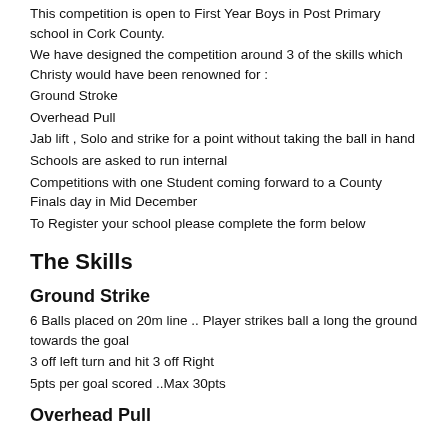This competition is open to First Year Boys in Post Primary school in Cork County.
We have designed the competition around 3 of the skills which Christy would have been renowned for :
Ground Stroke
Overhead Pull
Jab lift , Solo and strike for a point without taking the ball in hand
Schools are asked to run internal
Competitions with one Student coming forward to a County Finals day in Mid December
To Register your school please complete the form below
The Skills
Ground Strike
6 Balls placed on 20m line .. Player strikes ball a long the ground towards the goal
3 off left turn and hit 3 off Right
5pts per goal scored ..Max 30pts
Overhead Pull